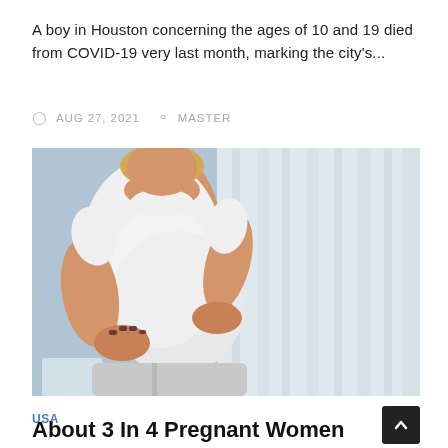A boy in Houston concerning the ages of 10 and 19 died from COVID-19 very last month, marking the city's...
AUG 27, 2021   MASTER
[Figure (photo): A pregnant woman in a white t-shirt holding her belly, photographed against a light blue and white curtain background.]
USA
About 3 In 4 Pregnant Women In